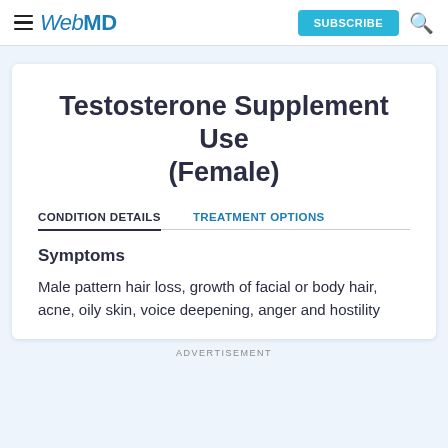WebMD | SUBSCRIBE
Testosterone Supplement Use (Female)
CONDITION DETAILS | TREATMENT OPTIONS
Symptoms
Male pattern hair loss, growth of facial or body hair, acne, oily skin, voice deepening, anger and hostility
ADVERTISEMENT